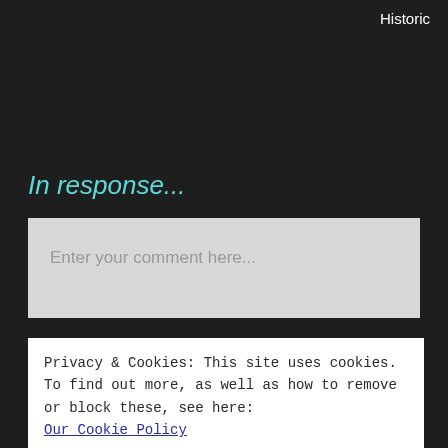Historic
In response...
Enter your comment here...
Privacy & Cookies: This site uses cookies.
To find out more, as well as how to remove or block these, see here:
Our Cookie Policy
Close and accept